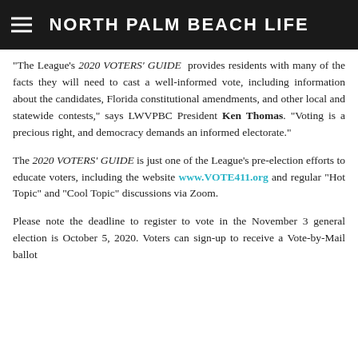NORTH PALM BEACH LIFE
“The League’s 2020 VOTERS’ GUIDE provides residents with many of the facts they will need to cast a well-informed vote, including information about the candidates, Florida constitutional amendments, and other local and statewide contests,” says LWVPBC President Ken Thomas. “Voting is a precious right, and democracy demands an informed electorate.”
The 2020 VOTERS’ GUIDE is just one of the League’s pre-election efforts to educate voters, including the website www.VOTE411.org and regular “Hot Topic” and “Cool Topic” discussions via Zoom.
Please note the deadline to register to vote in the November 3 general election is October 5, 2020. Voters can sign-up to receive a Vote-by-Mail ballot